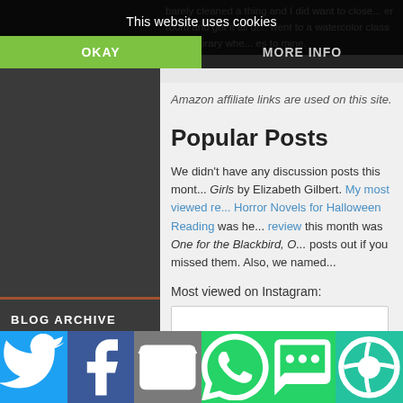barely cleaned a thing and I did want to close... er room and got it all di... went to a watercolor class at the library whe... es to mine.
This website uses cookies
OKAY
MORE INFO
Amazon affiliate links are used on this site.
Popular Posts
We didn't have any discussion posts this month... Girls by Elizabeth Gilbert. My most viewed review Horror Novels for Halloween Reading was her... review this month was One for the Blackbird, O... posts out if you missed them. Also, we named...
Most viewed on Instagram:
BLOG ARCHIVE
► 2022 (250)
[Figure (screenshot): Instagram embed placeholder box]
Social share buttons: Twitter, Facebook, Email, WhatsApp, SMS, More